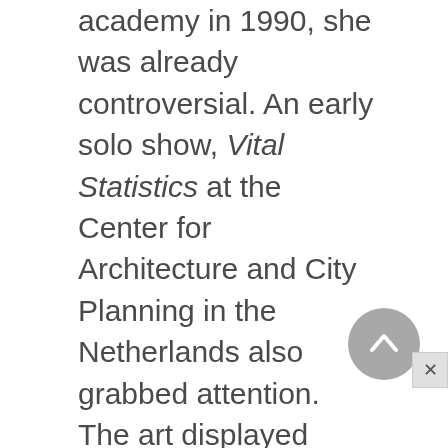academy in 1990, she was already controversial. An early solo show, Vital Statistics at the Center for Architecture and City Planning in the Netherlands also grabbed attention. The art displayed included six female models proactively posed on the city's landscapes with hyperrealist colors and emotional energy. Though it was not obvious, the models and backgrounds had been shot separately and combined on a computer.